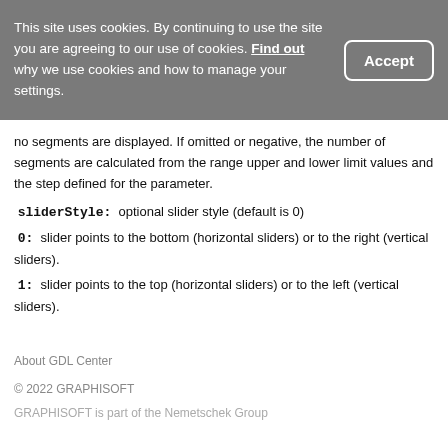This site uses cookies. By continuing to use the site you are agreeing to our use of cookies. Find out why we use cookies and how to manage your settings.
no segments are displayed. If omitted or negative, the number of segments are calculated from the range upper and lower limit values and the step defined for the parameter.
sliderStyle:  optional slider style (default is 0)
0:  slider points to the bottom (horizontal sliders) or to the right (vertical sliders).
1:  slider points to the top (horizontal sliders) or to the left (vertical sliders).
About GDL Center
© 2022 GRAPHISOFT
GRAPHISOFT is part of the Nemetschek Group